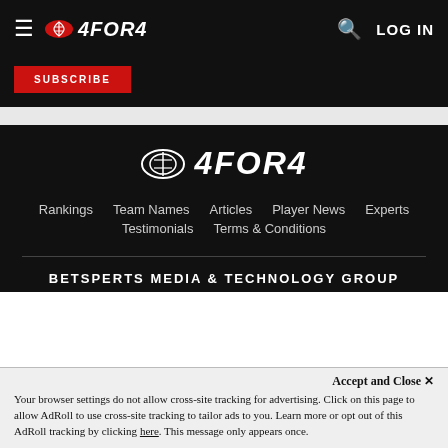4FOR4 — Navigation bar with hamburger menu, logo, search icon, and LOG IN
SUBSCRIBE
[Figure (logo): 4FOR4 large footer logo with football icon]
Rankings
Team Names
Articles
Player News
Experts
Testimonials
Terms & Conditions
BETSPERTS MEDIA & TECHNOLOGY GROUP
Accept and Close ✕
Your browser settings do not allow cross-site tracking for advertising. Click on this page to allow AdRoll to use cross-site tracking to tailor ads to you. Learn more or opt out of this AdRoll tracking by clicking here. This message only appears once.